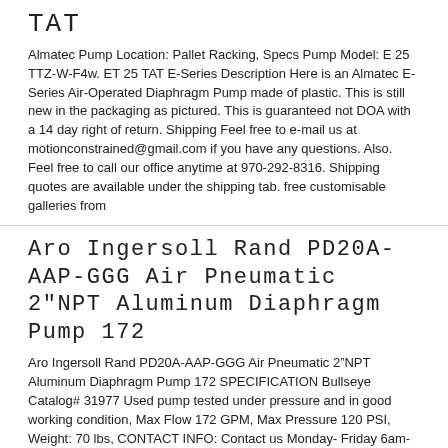TAT
Almatec Pump Location: Pallet Racking, Specs Pump Model: E 25 TTZ-W-F4w. ET 25 TAT E-Series Description Here is an Almatec E-Series Air-Operated Diaphragm Pump made of plastic. This is still new in the packaging as pictured. This is guaranteed not DOA with a 14 day right of return. Shipping Feel free to e-mail us at motionconstrained@gmail.com if you have any questions. Also. Feel free to call our office anytime at 970-292-8316. Shipping quotes are available under the shipping tab. free customisable galleries from
Aro Ingersoll Rand PD20A-AAP-GGG Air Pneumatic 2"NPT Aluminum Diaphragm Pump 172
Aro Ingersoll Rand PD20A-AAP-GGG Air Pneumatic 2”NPT Aluminum Diaphragm Pump 172 SPECIFICATION Bullseye Catalog# 31977 Used pump tested under pressure and in good working condition, Max Flow 172 GPM, Max Pressure 120 PSI, Weight: 70 lbs, CONTACT INFO: Contact us Monday- Friday 6am-3:30pm EST with any questions. Check out our eBay store BULLSEYE INDUSTRIAL SALES BULLSEYE INDUSTRIAL SALES. LLC 221 US Highway 20 Suite B Middlebury. IN 46540 Phone: 1-574-825-4990 Fax: 1-574-825-1280 Email: bullseyeindustrial@gmail.com ABOUT US We are an Industrial Surplus Dealer. Our goal is to provide quality new and used surplus items at a discount price. Your business is important to us. If there is any problem with your purchase or the transaction in any way please let us know at the phone number above. PLEASE READ INSPECTION. All items listed can be ... more